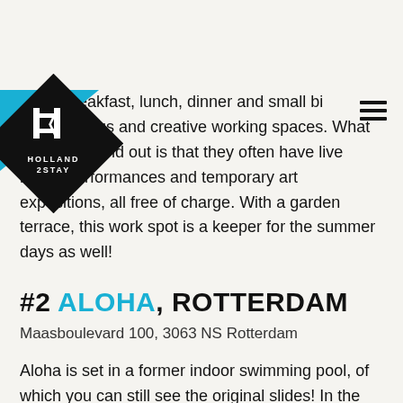Holland 2Stay logo and navigation
serves breakfast, lunch, dinner and small bites and has spacious and creative working spaces. What makes it stand out is that they often have live music performances and temporary art expositions, all free of charge. With a garden terrace, this work spot is a keeper for the summer days as well!
#2 ALOHA, ROTTERDAM
Maasboulevard 100, 3063 NS Rotterdam
Aloha is set in a former indoor swimming pool, of which you can still see the original slides! In the restaurant you can enjoy breakfast, lunch and dinner in a very creative interior filled with organic forms you can't get enough of. This place has semi-secluded seating areas, perfect for a serious